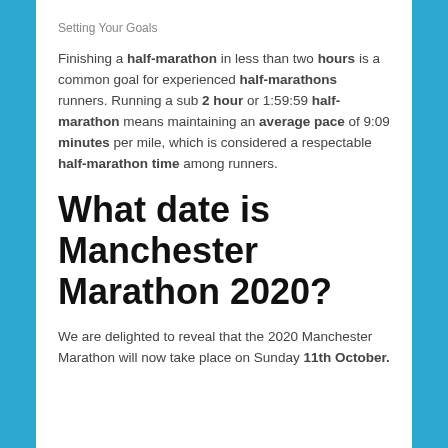Setting Your Goals
Finishing a half-marathon in less than two hours is a common goal for experienced half-marathons runners. Running a sub 2 hour or 1:59:59 half-marathon means maintaining an average pace of 9:09 minutes per mile, which is considered a respectable half-marathon time among runners.
What date is Manchester Marathon 2020?
We are delighted to reveal that the 2020 Manchester Marathon will now take place on Sunday 11th October.